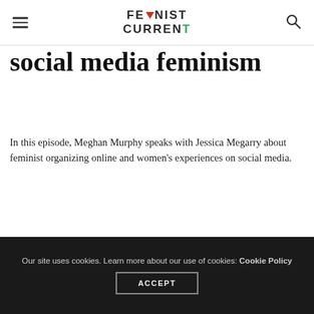Feminist Current
social media feminism
In this episode, Meghan Murphy speaks with Jessica Megarry about feminist organizing online and women's experiences on social media.
[Figure (photo): Broken image placeholder]
Our site uses cookies. Learn more about our use of cookies: Cookie Policy ACCEPT